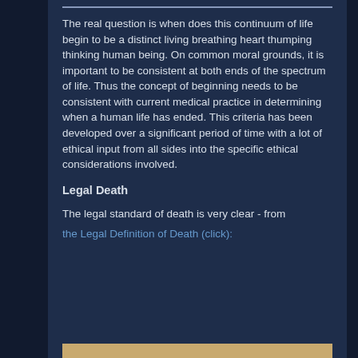The real question is when does this continuum of life begin to be a distinct living breathing heart thumping thinking human being. On common moral grounds, it is important to be consistent at both ends of the spectrum of life. Thus the concept of beginning needs to be consistent with current medical practice in determining when a human life has ended. This criteria has been developed over a significant period of time with a lot of ethical input from all sides into the specific ethical considerations involved.
Legal Death
The legal standard of death is very clear - from the Legal Definition of Death (click):